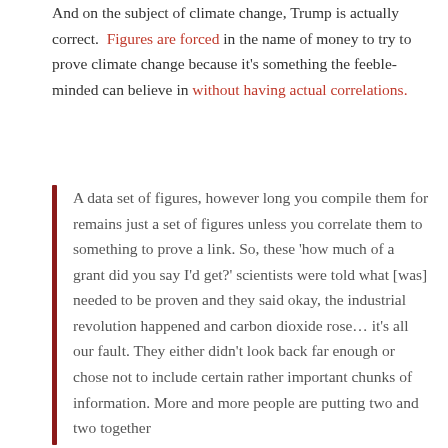And on the subject of climate change, Trump is actually correct. Figures are forced in the name of money to try to prove climate change because it's something the feeble-minded can believe in without having actual correlations.
A data set of figures, however long you compile them for remains just a set of figures unless you correlate them to something to prove a link. So, these 'how much of a grant did you say I'd get?' scientists were told what [was] needed to be proven and they said okay, the industrial revolution happened and carbon dioxide rose… it's all our fault. They either didn't look back far enough or chose not to include certain rather important chunks of information. More and more people are putting two and two together